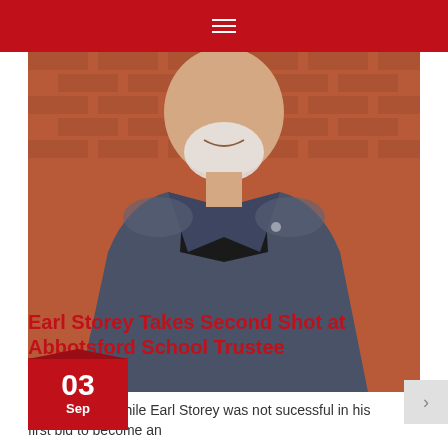[Figure (photo): Man with white beard wearing a dark blazer over black t-shirt, standing in front of a red brick wall, smiling. Date badge overlay shows 03 Sep in red.]
Earl Storey Takes Second Shot at Abbotsford School Trustee
Abbotsford – While Earl Storey was not sucessful in his first bid to become an